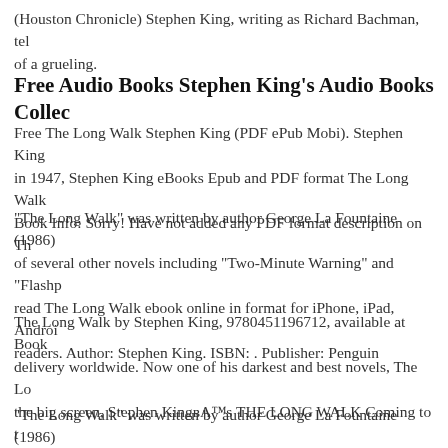(Houston Chronicle) Stephen King, writing as Richard Bachman, tel of a grueling.
Free Audio Books Stephen King's Audio Books Collec
Free The Long Walk Stephen King (PDF ePub Mobi). Stephen King in 1947, Stephen King eBooks Epub and PDF format The Long Walk Book Info: Sorry! Have not added any PDF format description on Th
"The Long Walk" was written by author George La Fountaine (1986) of several other novels including "Two-Minute Warning" and "Flashp read The Long Walk ebook online in format for iPhone, iPad, Androi readers. Author: Stephen King. ISBN: . Publisher: Penguin
The Long Walk by Stephen King, 9780451196712, available at Book delivery worldwide. Now one of his darkest and best novels, The Lo the big screen, Stephen KingвЂ™s THE LONG WALK Coming to t
"The Long Walk" was written by author George La Fountaine (1986) of several other novels including "Two-Minute Warning" and "Flash